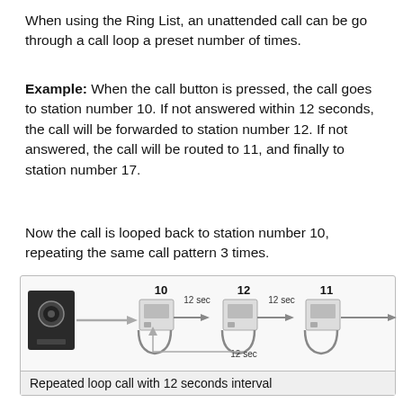When using the Ring List, an unattended call can be go through a call loop a preset number of times.
Example: When the call button is pressed, the call goes to station number 10. If not answered within 12 seconds, the call will be forwarded to station number 12. If not answered, the call will be routed to 11, and finally to station number 17.
Now the call is looped back to station number 10, repeating the same call pattern 3 times.
[Figure (flowchart): Diagram showing a repeated loop call flow: intercom device sends call to station 10, then after 12 sec to station 12, then after 12 sec to station 11, with a loop back arrow and '12 sec' label, illustrating repeated loop call with 12 seconds interval.]
Repeated loop call with 12 seconds interval